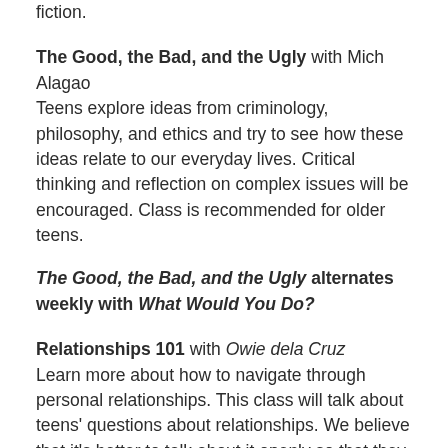fiction.
The Good, the Bad, and the Ugly with Mich Alagao
Teens explore ideas from criminology, philosophy, and ethics and try to see how these ideas relate to our everyday lives. Critical thinking and reflection on complex issues will be encouraged. Class is recommended for older teens.
The Good, the Bad, and the Ugly alternates weekly with What Would You Do?
Relationships 101 with Owie dela Cruz
Learn more about how to navigate through personal relationships. This class will talk about teens' questions about relationships. We believe that it's better to talk about it openly so that they can get the guidance they want and need. Throughout the class,